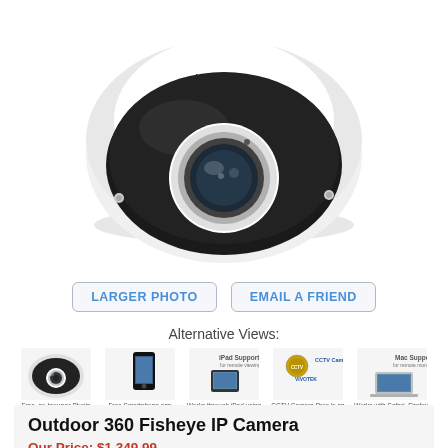[Figure (photo): VIVOTEK outdoor 360 fisheye dome IP camera, black dome with white housing, fisheye lens visible in center, viewed from above at angle]
LARGER PHOTO
EMAIL A FRIEND
Alternative Views:
[Figure (photo): Thumbnail of the fisheye camera]
[Figure (photo): iPhone app compatible thumbnail]
[Figure (photo): iPad Supported for remote viewing thumbnail]
[Figure (photo): CCTV Camera Pros and VIVOTEK branding thumbnail]
[Figure (photo): Mac Supported for remote monitoring thumbnail]
Outdoor 360 Fisheye IP Camera
Our Price: $1,349.99